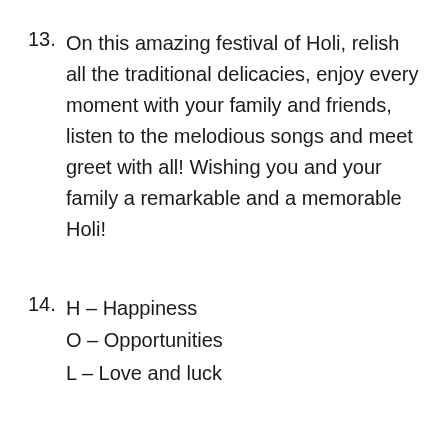13. On this amazing festival of Holi, relish all the traditional delicacies, enjoy every moment with your family and friends, listen to the melodious songs and meet greet with all! Wishing you and your family a remarkable and a memorable Holi!
14. H – Happiness
    O – Opportunities
    L – Love and luck